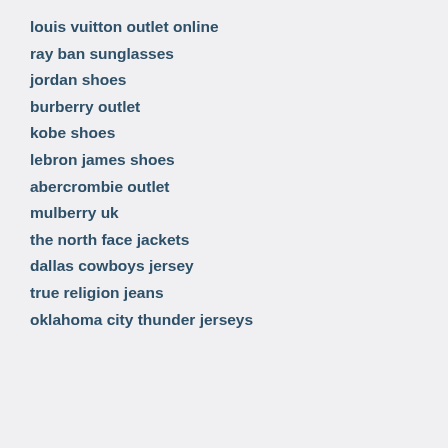louis vuitton outlet online
ray ban sunglasses
jordan shoes
burberry outlet
kobe shoes
lebron james shoes
abercrombie outlet
mulberry uk
the north face jackets
dallas cowboys jersey
true religion jeans
oklahoma city thunder jerseys